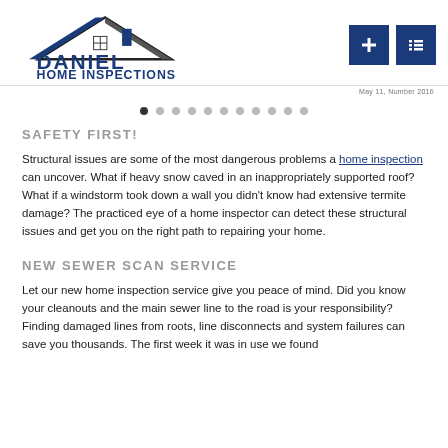[Figure (logo): Daniel Home Inspections logo with blue house/roof graphic and bold blue text]
May 11, Number 2016
[Figure (other): Navigation dots — 11 dots with first dot active/filled]
SAFETY FIRST!
Structural issues are some of the most dangerous problems a home inspection can uncover. What if heavy snow caved in an inappropriately supported roof? What if a windstorm took down a wall you didn't know had extensive termite damage? The practiced eye of a home inspector can detect these structural issues and get you on the right path to repairing your home.
NEW SEWER SCAN SERVICE
Let our new home inspection service give you peace of mind. Did you know your cleanouts and the main sewer line to the road is your responsibility? Finding damaged lines from roots, line disconnects and system failures can save you thousands. The first week it was in use we found...